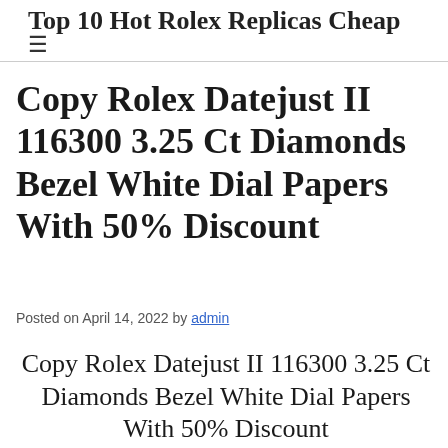Top 10 Hot Rolex Replicas Cheap
Copy Rolex Datejust II 116300 3.25 Ct Diamonds Bezel White Dial Papers With 50% Discount
Posted on April 14, 2022 by admin
Copy Rolex Datejust II 116300 3.25 Ct Diamonds Bezel White Dial Papers With 50% Discount